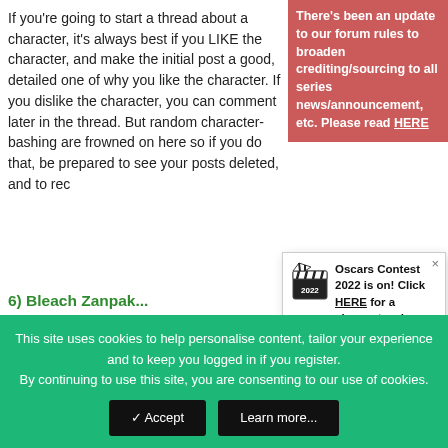If you're going to start a thread about a character, it's always best if you LIKE the character, and make the initial post a good, detailed one of why you like the character. If you dislike the character, you can comment later in the thread. But random character-bashing are frowned on here so if you do that, be prepared to see your posts deleted, and to rec...
[Figure (screenshot): Red banner overlay: There's been an update to our forum rules to broaden crediting/sourcing to all series news/announcement, etc. Please read HERE]
6) Bleach Zanpak...
Have an opinoin on who's zanpakutou is the coolest? Or what kidou spell is the best? Then start a thread here.
[Figure (screenshot): Oscars Contest 2022 is on! Click HERE for a chance to win your Oscar! (popup with film clapperboard icon and × close button)]
7) Bleach Pairings...
All the possible pai... even crack pairings... discussed. But please remember absolutely NO nudity pics or links
[Figure (screenshot): It's back! MH presents a celebration of manga/anime culture; Mangahelpers Awards 2022 is NOW LIVE! (popup with laurel wreath star icon and × close button)]
This site uses cookies to help personalise content, tailor your experience and to keep you logged in if you register.
By continuing to use this site, you are consenting to our use of cookies.
✓ Accept    Learn more...